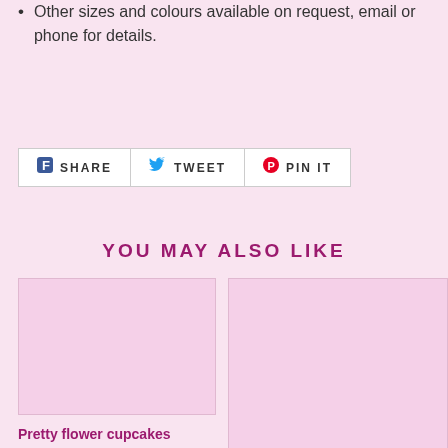Other sizes and colours available on request, email or phone for details.
[Figure (other): Share bar with Facebook Share, Twitter Tweet, and Pinterest Pin It buttons]
YOU MAY ALSO LIKE
[Figure (photo): Product image placeholder for Pretty flower cupcakes]
Pretty flower cupcakes
£12.00
[Figure (photo): Second product image placeholder]